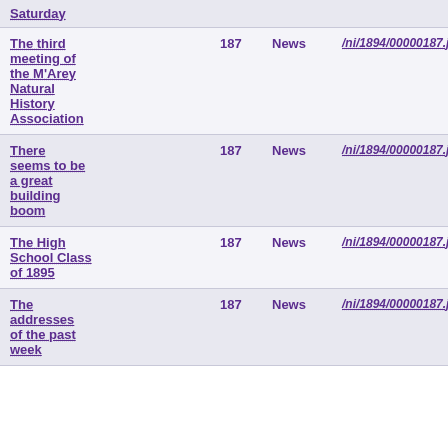| Saturday |  |  |  |
| The third meeting of the M'Arey Natural History Association | 187 | News | /ni/1894/00000187.jpg |
| There seems to be a great building boom | 187 | News | /ni/1894/00000187.jpg |
| The High School Class of 1895 | 187 | News | /ni/1894/00000187.jpg |
| The addresses of the past week | 187 | News | /ni/1894/00000187.jpg |